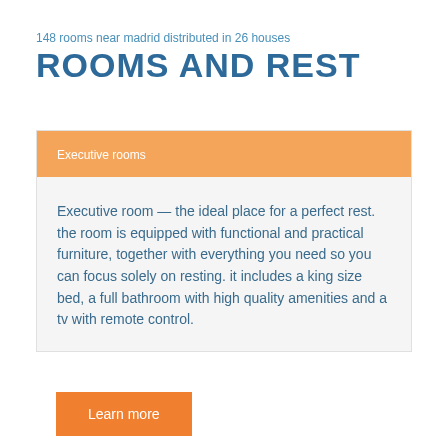148 rooms near madrid distributed in 26 houses
ROOMS AND REST
Executive rooms
Executive room — the ideal place for a perfect rest. the room is equipped with functional and practical furniture, together with everything you need so you can focus solely on resting. it includes a king size bed, a full bathroom with high quality amenities and a tv with remote control.
Learn more